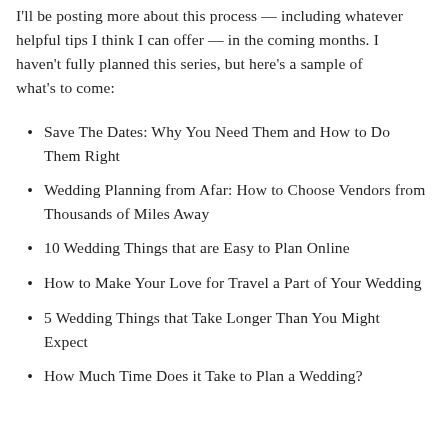I'll be posting more about this process — including whatever helpful tips I think I can offer — in the coming months. I haven't fully planned this series, but here's a sample of what's to come:
Save The Dates: Why You Need Them and How to Do Them Right
Wedding Planning from Afar: How to Choose Vendors from Thousands of Miles Away
10 Wedding Things that are Easy to Plan Online
How to Make Your Love for Travel a Part of Your Wedding
5 Wedding Things that Take Longer Than You Might Expect
How Much Time Does it Take to Plan a Wedding?